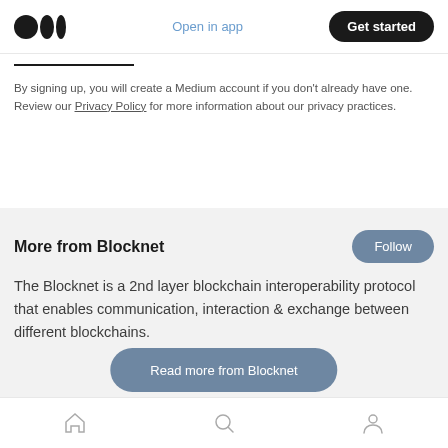Medium logo | Open in app | Get started
By signing up, you will create a Medium account if you don't already have one. Review our Privacy Policy for more information about our privacy practices.
More from Blocknet
The Blocknet is a 2nd layer blockchain interoperability protocol that enables communication, interaction & exchange between different blockchains.
Home | Search | Profile